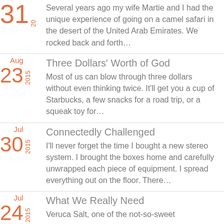31 2015 — Several years ago my wife Martie and I had the unique experience of going on a camel safari in the desert of the United Arab Emirates. We rocked back and forth…
Aug 23 2015 — Three Dollars' Worth of God — Most of us can blow through three dollars without even thinking twice. It'll get you a cup of Starbucks, a few snacks for a road trip, or a squeak toy for…
Jul 30 2015 — Connectedly Challenged — I'll never forget the time I bought a new stereo system. I brought the boxes home and carefully unwrapped each piece of equipment. I spread everything out on the floor. There…
Jul 24 2015 — What We Really Need — Veruca Salt, one of the not-so-sweet